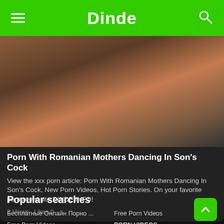Dinde
[Figure (photo): Thumbnail image for the article]
Porn With Romanian Mothers Dancing In Son's Cock
View the xxx porn article: Porn With Romanian Mothers Dancing In Son's Cock, New Porn Videos, Hot Porn Stories. On your favorite porn news site DINDE.INFO!
3 Views · Likes 0
Popular searches
Бесплатные Онлайн Порно ...
Free Porn Videos
Free Porn Videos
PORN VIDEOS
Porn Xxx Videos
Free Porn